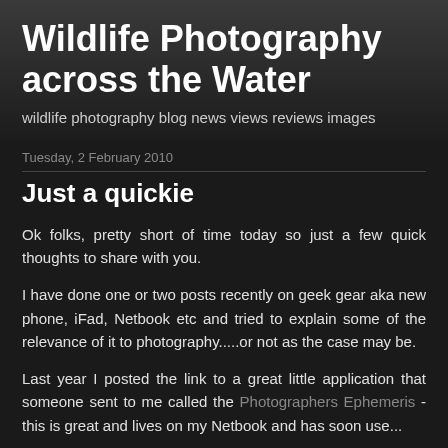Wildlife Photography across the Water
wildlife photography blog news views reviews images
Tuesday, 2 February 2010
Just a quickie
Ok folks, pretty short of time today so just a few quick thoughts to share with you.
I have done one or two posts recently on geek gear aka new phone, iFad, Netbook etc and tried to explain some of the relevance of it to photography.....or not as the case may be.
Last year I posted the link to a great little application that someone sent to me called the Photographers Ephemeris - this is great and lives on my Netbook and has soon use...